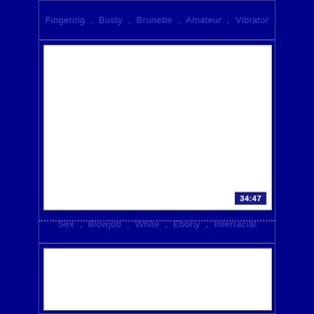Fingering , Busty , Brunette , Amateur , Vibrator
[Figure (screenshot): White blank video thumbnail with duration badge showing 34:47]
Sex , Blowjob , White , Ebony , Interracial
[Figure (screenshot): White blank video thumbnail (partial, bottom of page)]